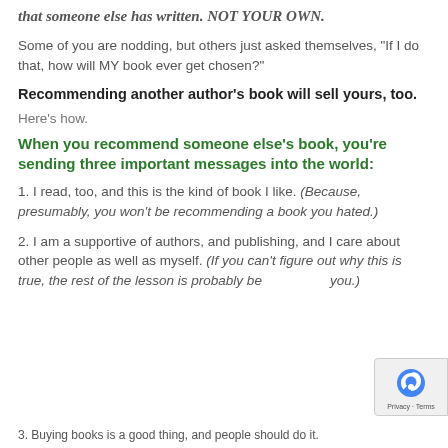that someone else has written. NOT YOUR OWN.
Some of you are nodding, but others just asked themselves, "If I do that, how will MY book ever get chosen?"
Recommending another author's book will sell yours, too.
Here's how.
When you recommend someone else's book, you're sending three important messages into the world:
1. I read, too, and this is the kind of book I like. (Because, presumably, you won't be recommending a book you hated.)
2. I am a supportive of authors, and publishing, and I care about other people as well as myself. (If you can't figure out why this is true, the rest of the lesson is probably be[yond] you.)
3. Buying books is a good thing, and people should do it.